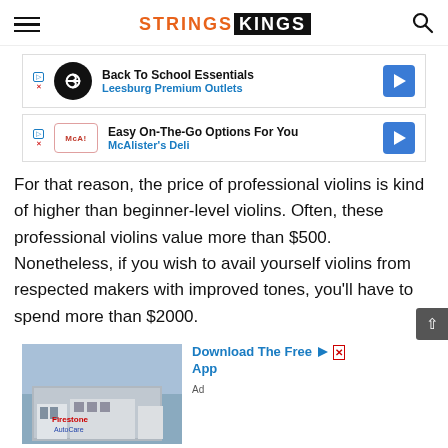STRINGS KINGS
[Figure (advertisement): Ad: Back To School Essentials - Leesburg Premium Outlets]
[Figure (advertisement): Ad: Easy On-The-Go Options For You - McAlister's Deli]
For that reason, the price of professional violins is kind of higher than beginner-level violins. Often, these professional violins value more than $500. Nonetheless, if you wish to avail yourself violins from respected makers with improved tones, you'll have to spend more than $2000.
[Figure (advertisement): Ad: Download The Free App - building photo]